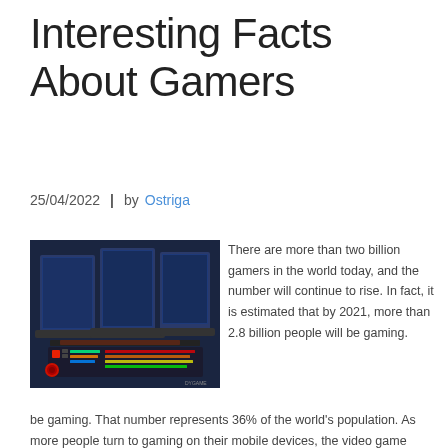Interesting Facts About Gamers
25/04/2022  |  by Ostriga
[Figure (photo): Gaming setup with multiple monitors, RGB keyboard and gaming peripherals in a dark environment]
There are more than two billion gamers in the world today, and the number will continue to rise. In fact, it is estimated that by 2021, more than 2.8 billion people will be gaming. That number represents 36% of the world's population. As more people turn to gaming on their mobile devices, the video game market will continue to expand worldwide. The following are some interesting facts about gamers. Listed below are some facts that you should know.
Gamer Types: The typical gamer is one who plays fantasy and hard core shooter games, is tech savvy, and has minimal fashion sense. In fact, some gamers are not so different from other types of gamers. They tend to put less